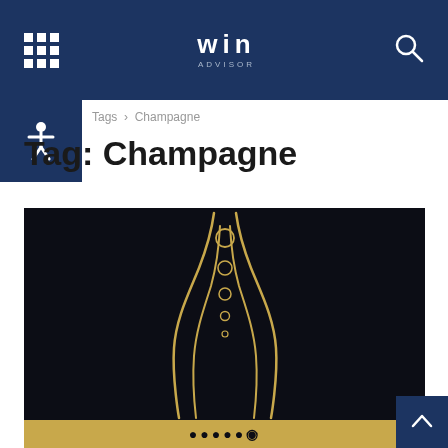WIN ADVISOR navigation bar
Tags > Champagne
Tag: Champagne
[Figure (illustration): Dark navy/black background with a stylized golden champagne flute illustration showing two curved lines forming the glass shape with rising bubbles in the center, and a gold banner at the bottom with decorative text.]